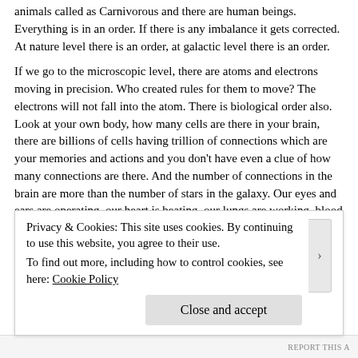animals called as Carnivorous and there are human beings. Everything is in an order. If there is any imbalance it gets corrected. At nature level there is an order, at galactic level there is an order.
If we go to the microscopic level, there are atoms and electrons moving in precision. Who created rules for them to move? The electrons will not fall into the atom. There is biological order also. Look at your own body, how many cells are there in your brain, there are billions of cells having trillion of connections which are your memories and actions and you don't have even a clue of how many connections are there. And the number of connections in the brain are more than the number of stars in the galaxy. Our eyes and ears are operating, our heart is beating, our lungs are working, blood circulation is there temperature is maintained, and so there is a perfect order in the biological system. So, there is order in the galactic system, order in the nature, order in the seasons and order in the biological system. Also there is an order in the society also, there are
Privacy & Cookies: This site uses cookies. By continuing to use this website, you agree to their use.
To find out more, including how to control cookies, see here: Cookie Policy
Close and accept